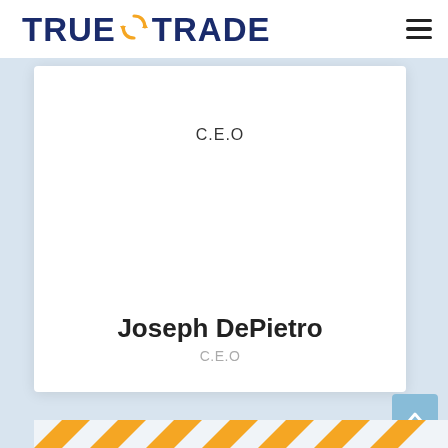TRUETRADE
C.E.O
[Figure (photo): White card area showing a person photo placeholder (blank)]
Joseph DePietro
C.E.O